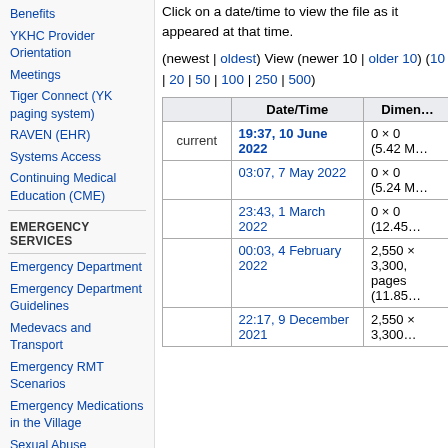Benefits
YKHC Provider Orientation
Meetings
Tiger Connect (YK paging system)
RAVEN (EHR)
Systems Access
Continuing Medical Education (CME)
EMERGENCY SERVICES
Emergency Department
Emergency Department Guidelines
Medevacs and Transport
Emergency RMT Scenarios
Emergency Medications in the Village
Sexual Abuse Response Team (SART)
PRIMARY CARE
Click on a date/time to view the file as it appeared at that time.
(newest | oldest) View (newer 10 | older 10) (10 | 20 | 50 | 100 | 250 | 500)
|  | Date/Time | Dimen… |
| --- | --- | --- |
| current | 19:37, 10 June 2022 | 0 × 0
(5.42 M… |
|  | 03:07, 7 May 2022 | 0 × 0
(5.24 M… |
|  | 23:43, 1 March 2022 | 0 × 0
(12.45… |
|  | 00:03, 4 February 2022 | 2,550 ×
3,300,
pages
(11.85… |
|  | 22:17, 9 December 2021 | 2,550 ×
3,300… |